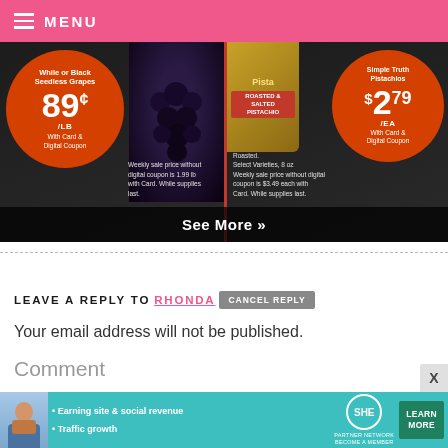MENU
[Figure (photo): Grocery store weekly ad showing White or Black Seedless Grapes at 89¢/LB with Card & Digital Coupon, and Simple Truth Pistachios at $2.79/EA with Card & Digital Coupon. 'See More »' overlay at bottom.]
LEAVE A REPLY TO RHONDA  CANCEL REPLY
Your email address will not be published.
Comment
[Figure (infographic): SHE Media Partner Network advertisement banner: Earning site & social revenue, Traffic growth. LEARN MORE button.]